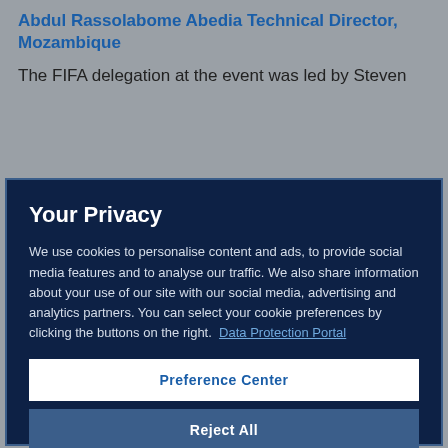Abdul Rassolabome Abedia Technical Director, Mozambique
The FIFA delegation at the event was led by Steven
Your Privacy
We use cookies to personalise content and ads, to provide social media features and to analyse our traffic. We also share information about your use of our site with our social media, advertising and analytics partners. You can select your cookie preferences by clicking the buttons on the right.  Data Protection Portal
Preference Center
Reject All
I'm OK with that